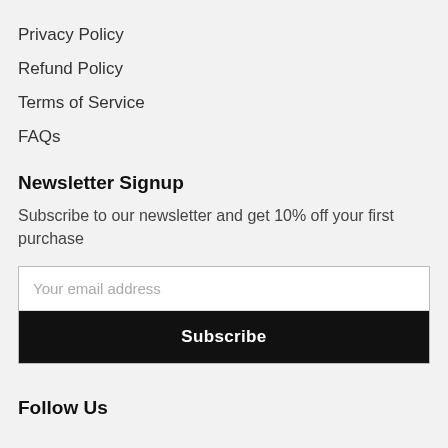Privacy Policy
Refund Policy
Terms of Service
FAQs
Newsletter Signup
Subscribe to our newsletter and get 10% off your first purchase
Your email address
Subscribe
Follow Us